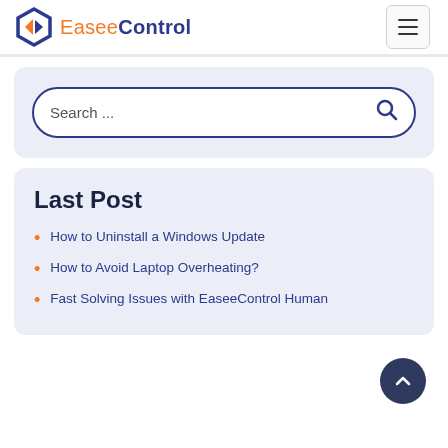[Figure (logo): EaseeControl logo with orange/blue hexagon icon and orange 'Easee' + bold blue 'Control' text]
[Figure (screenshot): Hamburger menu button (three horizontal lines) in a rounded rectangle border]
[Figure (screenshot): Search bar with 'Search ...' placeholder and magnifying glass icon on a light blue-grey background]
Last Post
How to Uninstall a Windows Update
How to Avoid Laptop Overheating?
Fast Solving Issues with EaseeControl Human